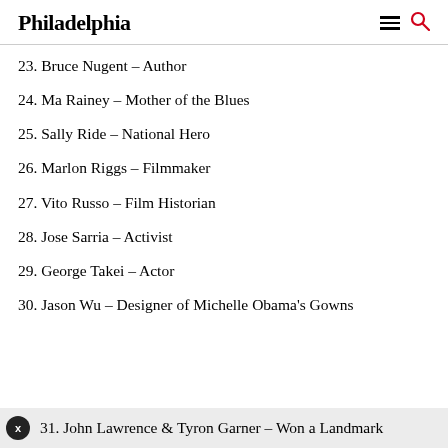Philadelphia
23. Bruce Nugent – Author
24. Ma Rainey – Mother of the Blues
25. Sally Ride – National Hero
26. Marlon Riggs – Filmmaker
27. Vito Russo – Film Historian
28. Jose Sarria – Activist
29. George Takei – Actor
30. Jason Wu – Designer of Michelle Obama's Gowns
31. John Lawrence & Tyron Garner – Won a Landmark